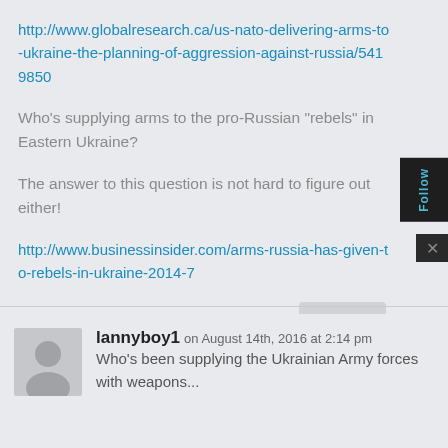http://www.globalresearch.ca/us-nato-delivering-arms-to-ukraine-the-planning-of-aggression-against-russia/5419850
Who’s supplying arms to the pro-Russian “rebels” in Eastern Ukraine?
The answer to this question is not hard to figure out either!
http://www.businessinsider.com/arms-russia-has-given-to-rebels-in-ukraine-2014-7
REPLY
lannyboy1 on August 14th, 2016 at 2:14 pm
Who’s been supplying the Ukrainian Army forces with weapons...